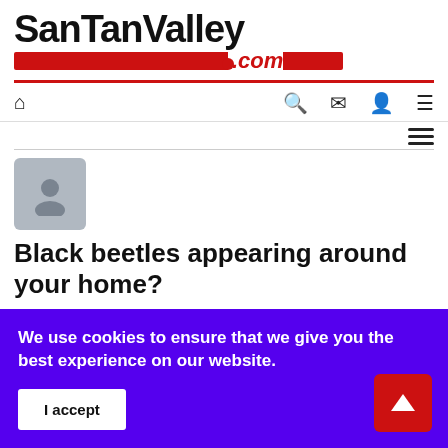SanTanValley.com
[Figure (logo): SanTanValley.com logo with black bold text and red bar with .com]
[Figure (screenshot): Navigation bar with home icon, search, mail, user, and hamburger menu icons]
[Figure (illustration): Grey user avatar placeholder icon]
Black beetles appearing around your home?
Sunday, 03 July 2022
CBS 5
Health & Lifestyle
We use cookies to ensure that we give you the best experience on our website.